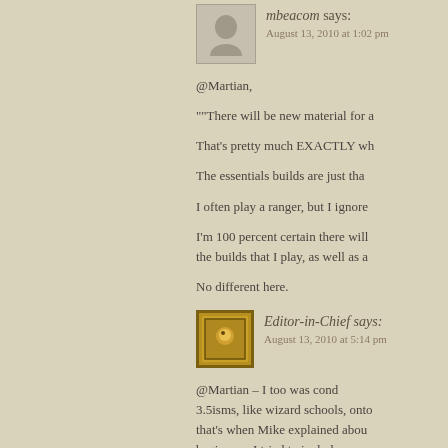[Figure (illustration): Default gray avatar placeholder for user mbeacom]
mbeacom says:
August 13, 2010 at 1:02 pm
@Martian,
""There will be new material for a
That's pretty much EXACTLY wh
The essentials builds are just tha
I often play a ranger, but I ignore
I'm 100 percent certain there will the builds that I play, as well as a
No different here.
[Figure (illustration): Editor-in-Chief avatar: golden/brown bordered image with a small character icon]
Editor-in-Chief says:
August 13, 2010 at 5:14 pm
@Martian – I too was cond 3.5isms, like wizard schools, onto that's when Mike explained abou beginners. I tried to include some discussed how difficult it can exp build wizard as opposed to "Illusi merit for helping "newbies" get in